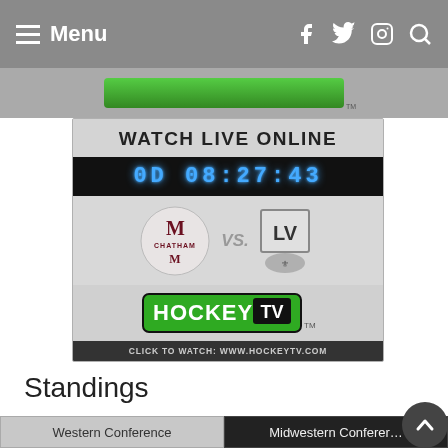Menu
[Figure (screenshot): HockeyTV Watch Live Online promotional banner showing countdown timer '0D 08:27:43', Chatham vs LV team logos, HockeyTV logo, and click to watch URL]
Standings
Western Conference
Midwestern Conference